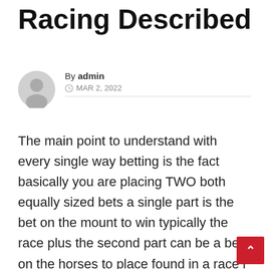Racing Described
By admin
MAR 2, 2022
The main point to understand with every single way betting is the fact basically you are placing TWO both equally sized bets a single part is the bet on the mount to win typically the race plus the second part can be a bet on the horses to place found in a race i actually. e. finishing found in the places very first, 2nd, 3rd or even 4th in some types of races.